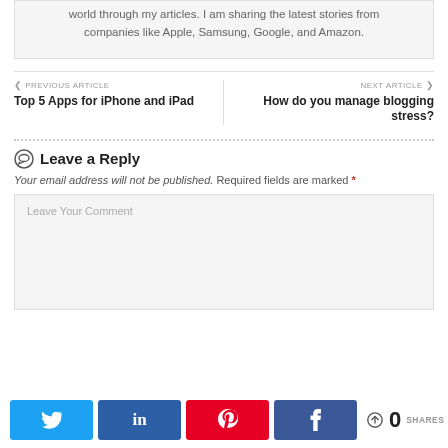world through my articles. I am sharing the latest stories from companies like Apple, Samsung, Google, and Amazon.
❮ PREVIOUS ARTICLE
Top 5 Apps for iPhone and iPad
NEXT ARTICLE ❯
How do you manage blogging stress?
Leave a Reply
Your email address will not be published. Required fields are marked *
Leave Your Comment
0 SHARES